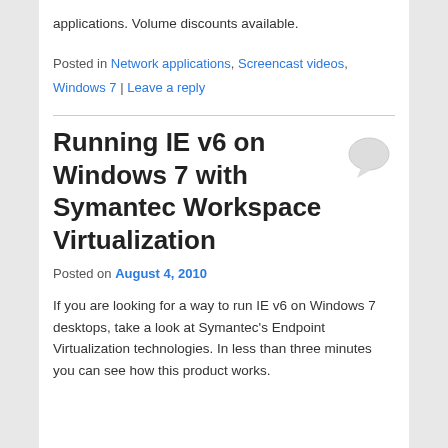applications. Volume discounts available.
Posted in Network applications, Screencast videos, Windows 7 | Leave a reply
Running IE v6 on Windows 7 with Symantec Workspace Virtualization
Posted on August 4, 2010
If you are looking for a way to run IE v6 on Windows 7 desktops, take a look at Symantec's Endpoint Virtualization technologies. In less than three minutes you can see how this product works.